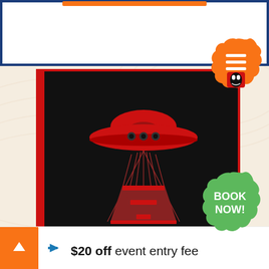[Figure (logo): Red Team Invaders logo on black background with a UFO illustration and INVADERS text in red on black panel with red border]
RED TEAM - INVADERS
What you get?
$20 off event entry fee
[Figure (infographic): Green BOOK NOW splat badge]